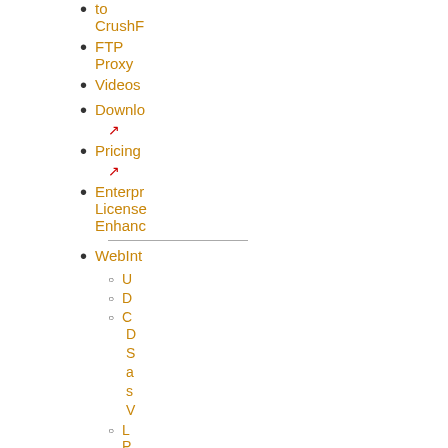to CrushF
FTP Proxy
Videos
Downlo ↗
Pricing ↗
Enterpr License Enhanc
WebInt
U
D
C
D s a s V
L P
F